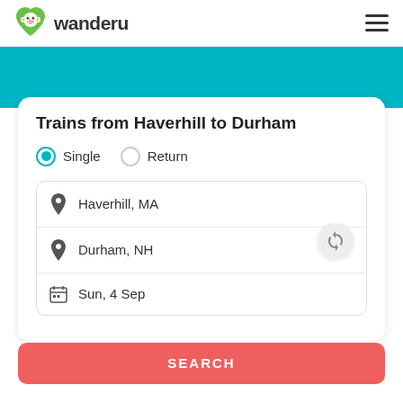[Figure (logo): Wanderu logo: green heart-shaped monkey face icon next to the text 'wanderu' in bold dark font]
Trains from Haverhill to Durham
Single  Return (radio button options, Single selected)
Haverhill, MA
Durham, NH
Sun, 4 Sep
SEARCH